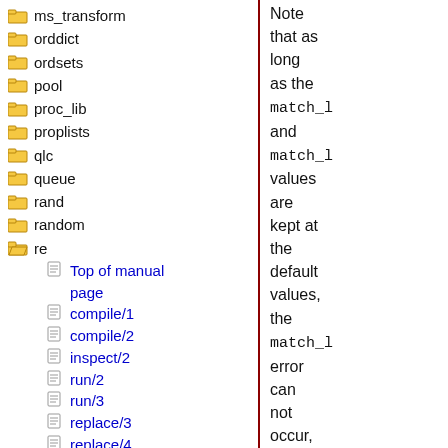ms_transform
orddict
ordsets
pool
proc_lib
proplists
qlc
queue
rand
random
re
Top of manual page
compile/1
compile/2
inspect/2
run/2
run/3
replace/3
replace/4
Note that as long as the match_limit and match_limit values are kept at the default values, the match_limit error can not occur, as the match_limit error will occur before that